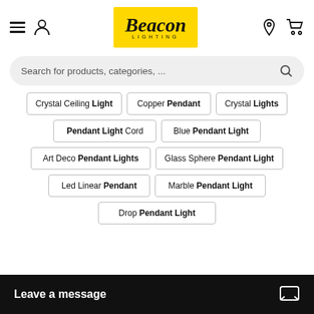[Figure (logo): Beacon Lighting logo — script text on yellow background]
Search for products, categories, ...
Crystal Ceiling Light
Copper Pendant
Crystal Lights
Pendant Light Cord
Blue Pendant Light
Art Deco Pendant Lights
Glass Sphere Pendant Light
Led Linear Pendant
Marble Pendant Light
Drop Pendant Light
Leave a message